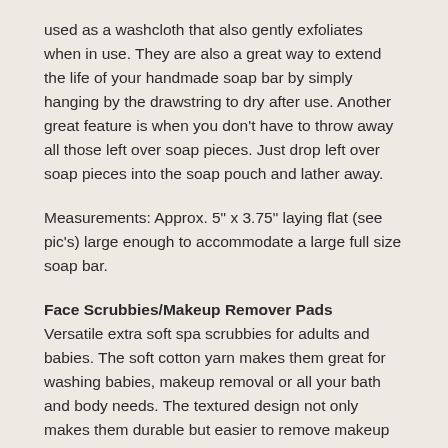used as a washcloth that also gently exfoliates when in use. They are also a great way to extend the life of your handmade soap bar by simply hanging by the drawstring to dry after use. Another great feature is when you don't have to throw away all those left over soap pieces. Just drop left over soap pieces into the soap pouch and lather away.
Measurements: Approx. 5" x 3.75" laying flat (see pic's) large enough to accommodate a large full size soap bar.
Face Scrubbies/Makeup Remover Pads
Versatile extra soft spa scrubbies for adults and babies. The soft cotton yarn makes them great for washing babies, makeup removal or all your bath and body needs. The textured design not only makes them durable but easier to remove makeup while gently exfoliating the skin.